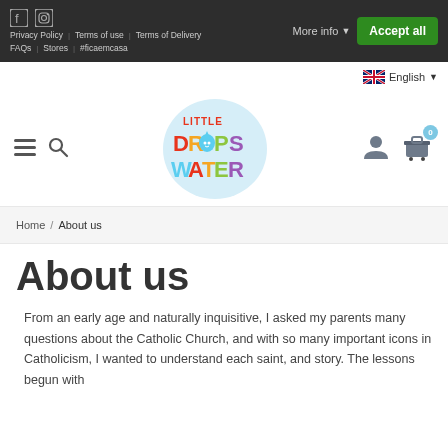Cookie consent bar with social icons, Privacy Policy, Terms of use, Terms of Delivery, FAQs, Stores, #ficaemcasa links; More info and Accept all buttons
[Figure (screenshot): Little Drops of Water colorful logo with light blue circular background]
Navigation bar with hamburger menu, search icon, user icon, cart icon, English language selector
Home / About us
About us
From an early age and naturally inquisitive, I asked my parents many questions about the Catholic Church, and with so many important icons in Catholicism, I wanted to understand each saint, and story. The lessons begun with